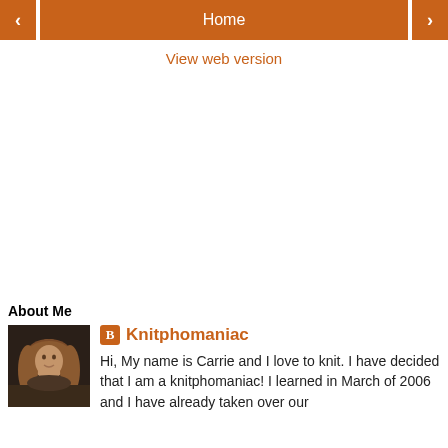< Home >
View web version
About Me
[Figure (photo): Profile photo of a woman with medium-length reddish-brown hair, smiling, indoors]
Knitphomaniac
Hi, My name is Carrie and I love to knit. I have decided that I am a knitphomaniac! I learned in March of 2006 and I have already taken over our...